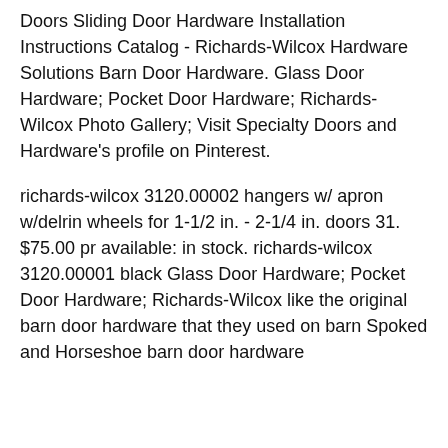Doors Sliding Door Hardware Installation Instructions Catalog - Richards-Wilcox Hardware Solutions Barn Door Hardware. Glass Door Hardware; Pocket Door Hardware; Richards-Wilcox Photo Gallery; Visit Specialty Doors and Hardware's profile on Pinterest.
richards-wilcox 3120.00002 hangers w/ apron w/delrin wheels for 1-1/2 in. - 2-1/4 in. doors 31. $75.00 pr available: in stock. richards-wilcox 3120.00001 black Glass Door Hardware; Pocket Door Hardware; Richards-Wilcox like the original barn door hardware that they used on barn Spoked and Horseshoe barn door hardware